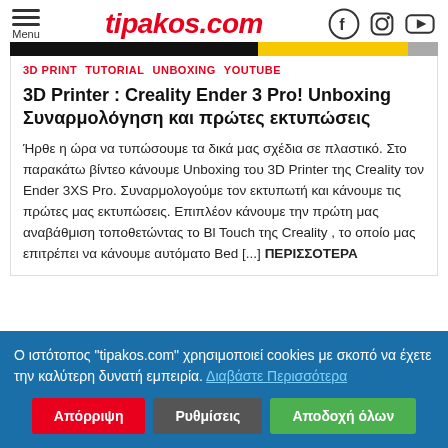tipakos.com
[Figure (screenshot): Partial banner image with black and yellow/gold stripe]
3D PRINT   TUTORIAL   UNBOXING   YOUTUBE
3D Printer : Creality Ender 3 Pro! Unboxing Συναρμολόγηση και πρώτες εκτυπώσεις
Ήρθε η ώρα να τυπώσουμε τα δικά μας σχέδια σε πλαστικό. Στο παρακάτω βίντεο κάνουμε Unboxing του 3D Printer της Creality τον Ender 3XS Pro. Συναρμολογούμε τον εκτυπωτή και κάνουμε τις πρώτες μας εκτυπώσεις. Επιπλέον κάνουμε την πρώτη μας αναβάθμιση τοποθετώντας το Bl Touch της Creality , το οποίο μας επιτρέπει να κάνουμε αυτόματο Bed [...] ΠΕΡΙΣΣΟΤΕΡΑ
Ο ιστότοπος "tipakos.com" χρησιμοποιεί cookies με σκοπό να έχετε την καλύτερη δυνατή εμπειρία. Διαβάστε Περισσότερα
Απόρριψη   Ρυθμίσεις   Αποδοχή όλων